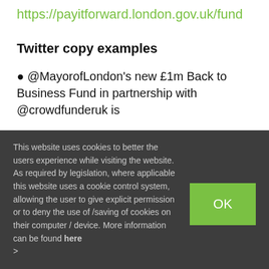https://payitforward.london.gov.uk/fund
Twitter copy examples
• @MayorofLondon's new £1m Back to Business Fund in partnership with @crowdfunderuk is now open for applications.
This offers £5k in match funding to small businesses
This website uses cookies to better the users experience while visiting the website. As required by legislation, where applicable this website uses a cookie control system, allowing the user to give explicit permission or to deny the use of /saving of cookies on their computer / device. More information can be found here >